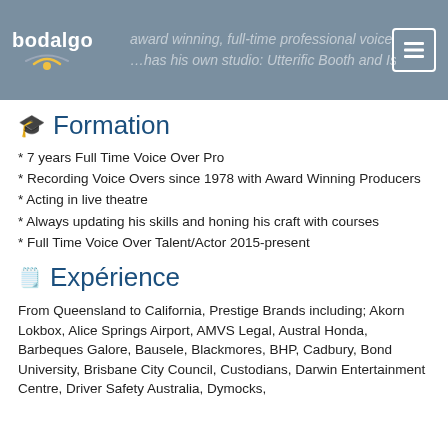bodalgo — award winning, full-time professional voice over. Has his own studio: Utterific Booth and Isemonic
Formation
* 7 years Full Time Voice Over Pro
* Recording Voice Overs since 1978 with Award Winning Producers
* Acting in live theatre
* Always updating his skills and honing his craft with courses
* Full Time Voice Over Talent/Actor 2015-present
Expérience
From Queensland to California, Prestige Brands including; Akorn Lokbox, Alice Springs Airport, AMVS Legal, Austral Honda, Barbeques Galore, Bausele, Blackmores, BHP, Cadbury, Bond University, Brisbane City Council, Custodians, Darwin Entertainment Centre, Driver Safety Australia, Dymocks,